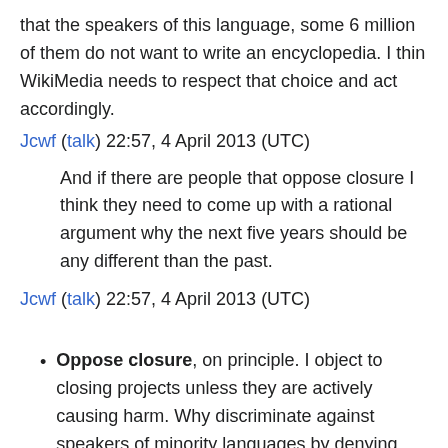that the speakers of this language, some 6 million of them do not want to write an encyclopedia. I thin WikiMedia needs to respect that choice and act accordingly.
Jcwf (talk) 22:57, 4 April 2013 (UTC)
And if there are people that oppose closure I think they need to come up with a rational argument why the next five years should be any different than the past.
Jcwf (talk) 22:57, 4 April 2013 (UTC)
Oppose closure, on principle. I object to closing projects unless they are actively causing harm. Why discriminate against speakers of minority languages by denying them the opportunity to contribute to a project in their own language? We can't conclude from the current lack of interest that nobody wants a ...